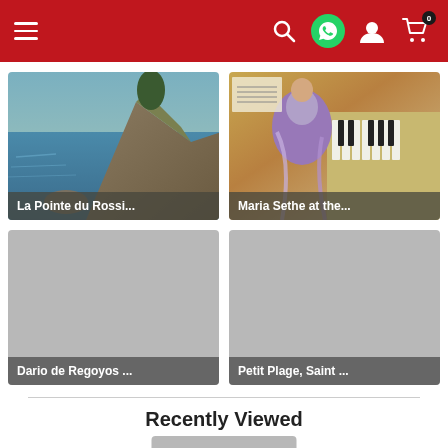Navigation bar with hamburger menu, search, WhatsApp, user account, and cart (0) icons
[Figure (photo): La Pointe du Rossi... - coastal rocky landscape painting with sea]
[Figure (photo): Maria Sethe at the... - woman in purple dress at a piano painting]
[Figure (photo): Dario de Regoyos ... - gray placeholder image]
[Figure (photo): Petit Plage, Saint ... - gray placeholder image]
Recently Viewed
[Figure (photo): Recently viewed artwork thumbnail - gray placeholder]